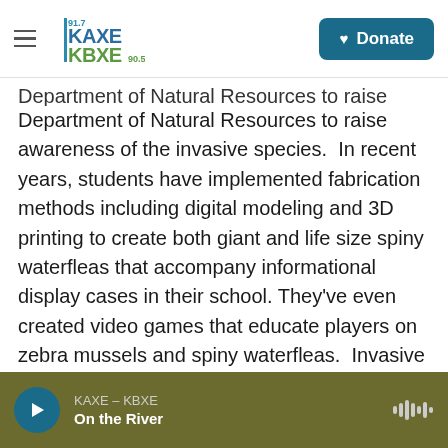KAXE 91.7 / KBXE 90.5 — Donate
Department of Natural Resources to raise awareness of the invasive species. In recent years, students have implemented fabrication methods including digital modeling and 3D printing to create both giant and life size spiny waterfleas that accompany informational display cases in their school. They've even created video games that educate players on zebra mussels and spiny waterfleas. Invasive species are a big deal to these kids.
In the video, Cede explains the detrimental effects of invasive species and educates viewers on ways
KAXE – KBXE | On the River